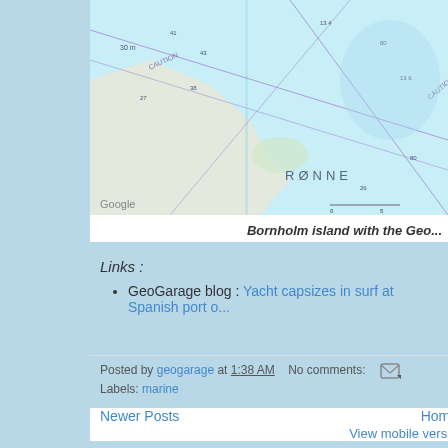[Figure (map): Nautical/marine chart of Bornholm island area showing Rønne, with Google watermark, rendered via Google Maps overlay with depth soundings and navigation markers.]
Bornholm island with the Geo...
Links :
GeoGarage blog : Yacht capsizes in surf at Spanish port o...
Posted by geogarage at 1:38 AM   No comments:
Labels: marine
Newer Posts   Home   View mobile vers...
Subscribe to: Posts (Atom)